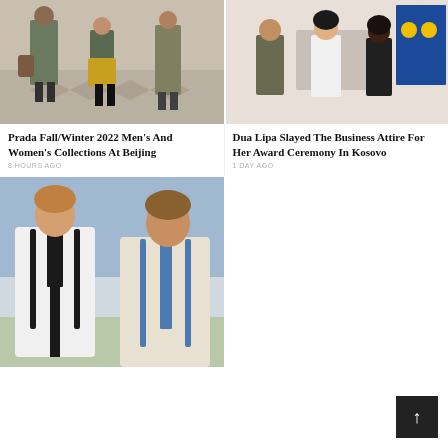[Figure (photo): Fashion photo showing people walking with bags and colorful clothing on a patterned floor — Prada Fall/Winter 2022 Beijing collection]
[Figure (photo): Dua Lipa and others in business attire at an award ceremony in Kosovo, with flags in the background]
Prada Fall/Winter 2022 Men's And Women's Collections At Beijing
8 HOURS AGO
Dua Lipa Slayed The Business Attire For Her Award Ceremony In Kosovo
1 DAY AGO
[Figure (photo): Two men in suspenders and dress shirts — a fashion or celebrity comparison photo]